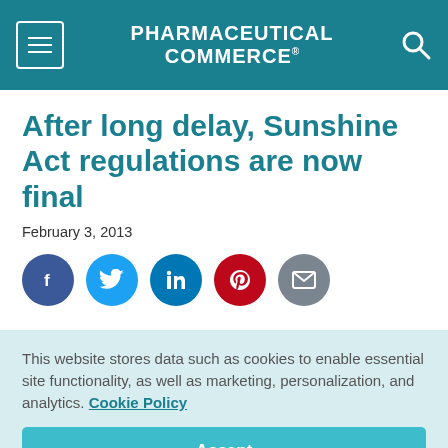PHARMACEUTICAL COMMERCE
After long delay, Sunshine Act regulations are now final
February 3, 2013
[Figure (infographic): Social sharing icons: Facebook (dark blue circle), Twitter (light blue circle), LinkedIn (teal circle), Pinterest (red circle), Email (grey circle)]
This website stores data such as cookies to enable essential site functionality, as well as marketing, personalization, and analytics. Cookie Policy
Accept
Deny